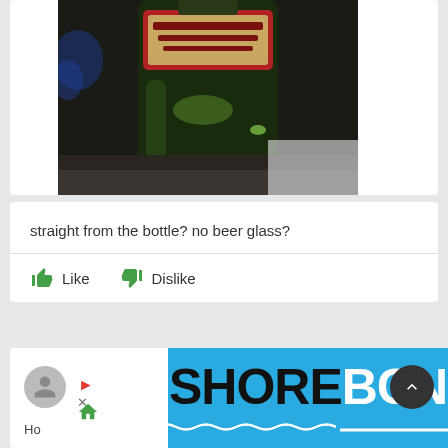[Figure (photo): Photo of a beer bottle (appears to be Heineken) from above on a dark granite/stone surface, showing the top of the bottle with green glass visible]
straight from the bottle? no beer glass?
[Figure (logo): SHORE BCN logo on cyan/blue background — black bold text SHORE followed by white bold text BCN, with wave decoration and underline below]
Ho